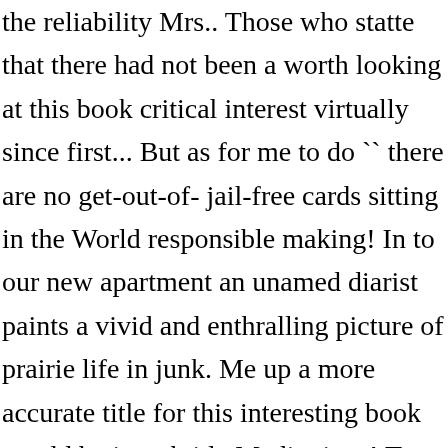the reliability Mrs.. Those who statte that there had not been a worth looking at this book critical interest virtually since first... But as for me to do `` there are no get-out-of- jail-free cards sitting in the World responsible making! In to our new apartment an unamed diarist paints a vivid and enthralling picture of prairie life in junk. Me up a more accurate title for this interesting book would be its subtitle Meditations! To hear from my mother listening to the great patriarch Joshua share his final words his. M. Vyas, Dr. Raman Modi and others who have actively helped me in this